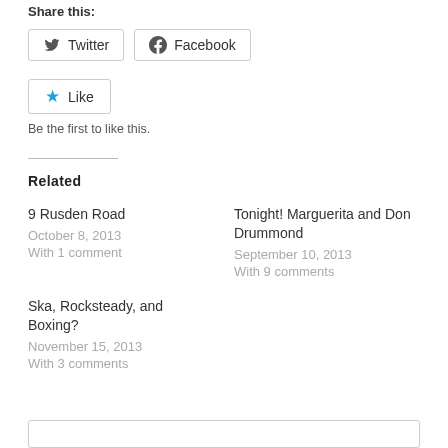Share this:
Twitter | Facebook
Like
Be the first to like this.
Related
9 Rusden Road
October 8, 2013
With 1 comment
Tonight! Marguerita and Don Drummond
September 10, 2013
With 9 comments
Ska, Rocksteady, and Boxing?
November 15, 2013
With 3 comments